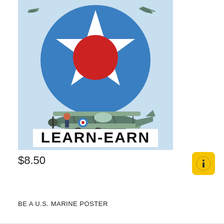[Figure (illustration): Vintage U.S. Marines recruitment poster showing a large circular U.S. Army Air Corps roundel (blue circle with white star and red center circle) dominating the upper portion, with a biplane aircraft in the lower portion and bold text reading LEARN-EARN at the bottom of the poster.]
$8.50
BE A U.S. MARINE POSTER